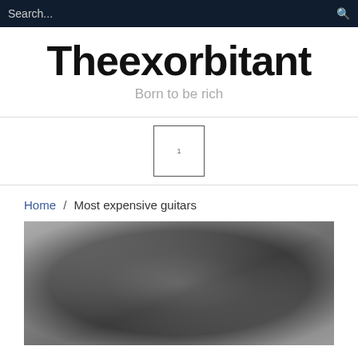Search...
Theexorbitant
Born to be rich
[Figure (other): Advertisement placeholder box with number 1]
Home / Most expensive guitars
[Figure (photo): Hero image - blurred grayscale photo placeholder]